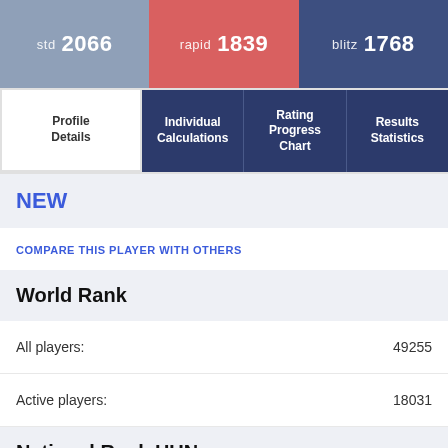[Figure (infographic): Rating bar showing std 2066, rapid 1839, blitz 1768]
[Figure (infographic): Navigation tabs: Profile Details, Individual Calculations, Rating Progress Chart, Results Statistics]
NEW
COMPARE THIS PLAYER WITH OTHERS
World Rank
All players: 49255
Active players: 18031
National Rank HUN